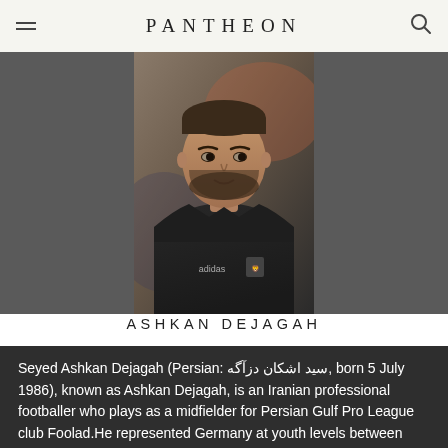PANTHEON
[Figure (photo): Portrait photo of Ashkan Dejagah wearing a black Adidas jacket with Iranian football federation badge, looking to the side with a beard and short hair]
ASHKAN DEJAGAH
Seyed Ashkan Dejagah (Persian: سید اشکان دزآگه, born 5 July 1986), known as Ashkan Dejagah, is an Iranian professional footballer who plays as a midfielder for Persian Gulf Pro League club Foolad.He represented Germany at youth levels between 2001 and 2009, going on to win the 2009 UEFA European Under-21